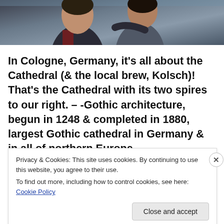[Figure (photo): Cropped photo of two people outdoors near water, partially visible at the top of the page]
In Cologne, Germany, it's all about the Cathedral (& the local brew, Kolsch)! That's the Cathedral with its two spires to our right. – -Gothic architecture, begun in 1248 & completed in 1880, largest Gothic cathedral in Germany & in all of northern Europe.
Privacy & Cookies: This site uses cookies. By continuing to use this website, you agree to their use.
To find out more, including how to control cookies, see here: Cookie Policy
Close and accept